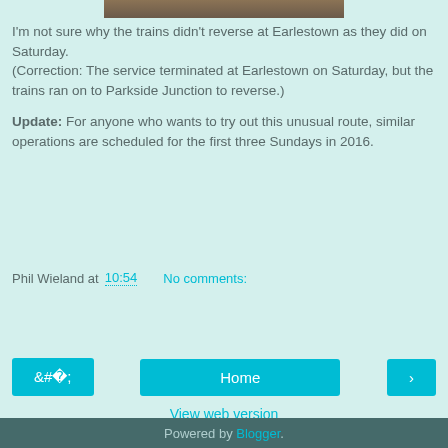[Figure (photo): Partial photo showing brickwork/paving at top of page]
I'm not sure why the trains didn't reverse at Earlestown as they did on Saturday.
(Correction:  The service terminated at Earlestown on Saturday, but the trains ran on to Parkside Junction to reverse.)
Update:   For anyone who wants to try out this unusual route, similar operations are scheduled for the first three Sundays in 2016.
Phil Wieland at 10:54    No comments:
Share
‹
Home
›
View web version
Powered by Blogger.